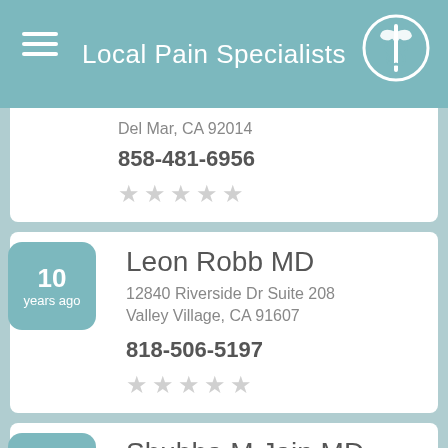Local Pain Specialists
Del Mar, CA 92014
858-481-6956
★★★★★ (0 stars)
10 years ago — Leon Robb MD, 12840 Riverside Dr Suite 208, Valley Village, CA 91607
818-506-5197
★★★★★ (0 stars)
10 years ago — Shubha M Jain MD, 11145 Tampa Ave Suite Ste 14a, Porter Ranch, CA 91326
818-266-4513